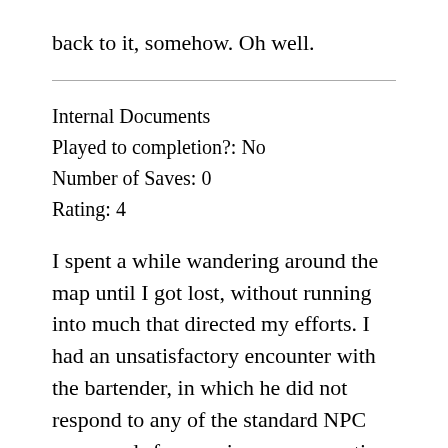back to it, somehow. Oh well.
Internal Documents
Played to completion?: No
Number of Saves: 0
Rating: 4
I spent a while wandering around the map until I got lost, without running into much that directed my efforts. I had an unsatisfactory encounter with the bartender, in which he did not respond to any of the standard NPC commands for opening a conversation. I got frustrated trying to get my document out of my briefcase, because of the